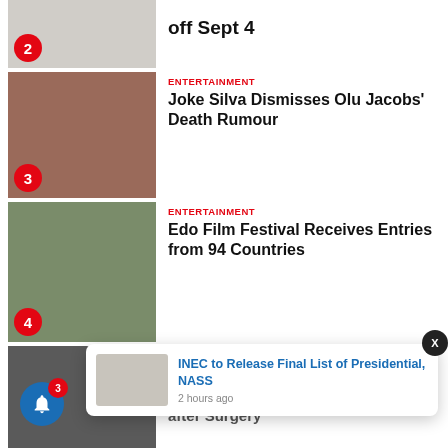[Figure (photo): Partial news article thumbnail with badge number 2, people in background]
off Sept 4
[Figure (photo): Joke Silva and Olu Jacobs photo, badge number 3]
ENTERTAINMENT
Joke Silva Dismisses Olu Jacobs' Death Rumour
[Figure (photo): Edo State International Film Festival banner with people holding signs, badge number 4]
ENTERTAINMENT
Edo Film Festival Receives Entries from 94 Countries
[Figure (photo): Afrobeat Star partial photo, badge badge area]
ENTERTAINMENT
Afrobeat Star, Fedris
[Figure (screenshot): Notification popup: INEC to Release Final List of Presidential, NASS - 2 hours ago, with INEC logo image]
INEC to Release Final List of Presidential, NASS
2 hours ago